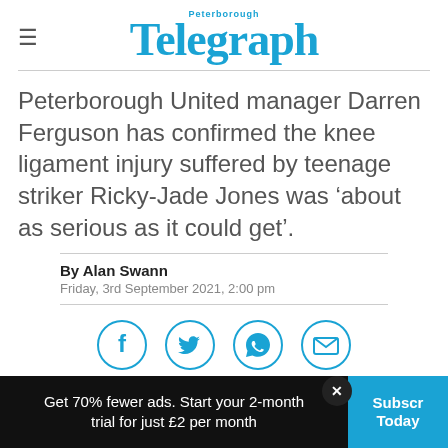Peterborough Telegraph
Peterborough United manager Darren Ferguson has confirmed the knee ligament injury suffered by teenage striker Ricky-Jade Jones was ‘about as serious as it could get’.
By Alan Swann
Friday, 3rd September 2021, 2:00 pm
[Figure (infographic): Social sharing icons: Facebook, Twitter, WhatsApp, Email — each in a circular blue outline border]
Get 70% fewer ads. Start your 2-month trial for just £2 per month
Subscribe Today